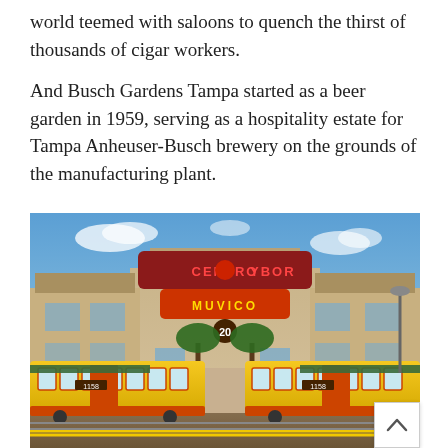world teemed with saloons to quench the thirst of thousands of cigar workers.

And Busch Gardens Tampa started as a beer garden in 1959, serving as a hospitality estate for Tampa Anheuser-Busch brewery on the grounds of the manufacturing plant.
[Figure (photo): Photograph of Centro Ybor entertainment complex in Ybor City, Tampa. Two bright yellow vintage streetcars (trolleys) are parked in front of the building. The building facade features a large illuminated sign reading 'CENTRO YBOR' with a central circular logo. Below it is a 'MUVICO 20' movie theater sign. The building has a Spanish/Mediterranean architectural style with tan/cream colored walls. Palm trees are visible in the courtyard. The sky is blue with some clouds.]